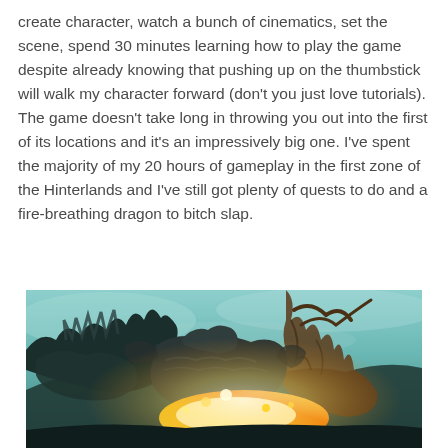create character, watch a bunch of cinematics, set the scene, spend 30 minutes learning how to play the game despite already knowing that pushing up on the thumbstick will walk my character forward (don't you just love tutorials). The game doesn't take long in throwing you out into the first of its locations and it's an impressively big one. I've spent the majority of my 20 hours of gameplay in the first zone of the Hinterlands and I've still got plenty of quests to do and a fire-breathing dragon to bitch slap.
[Figure (photo): Screenshot from a fantasy video game showing a dragon or large creature with glowing fire/energy effects in a dramatic scene with dark, atmospheric lighting and greenish-teal sky background.]